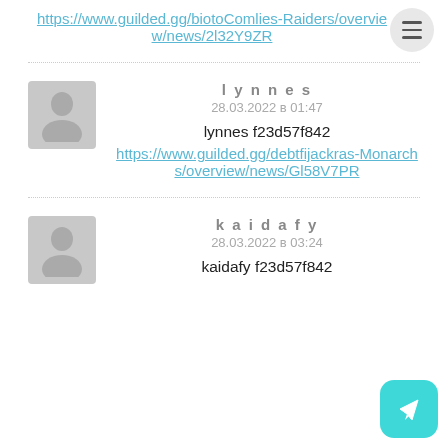https://www.guilded.gg/biotoCom-ies-Raiders/overview/news/2l32Y9ZR
lynnes
28.03.2022 в 01:47
lynnes f23d57f842
https://www.guilded.gg/debtfijackras-Monarchs/overview/news/Gl58V7PR
kaidafy
28.03.2022 в 03:24
kaidafy f23d57f842